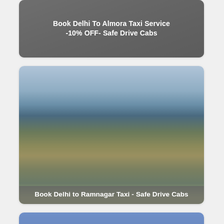[Figure (photo): Card with grey background and overlay text: Book Delhi To Almora Taxi Service -10% OFF- Safe Drive Cabs]
[Figure (photo): Landscape photo showing hazy mountains and fields with overlay text: Book Delhi to Ramnagar Taxi - Safe Drive Cabs]
[Figure (photo): Photo showing a large orange sun/moon rising against a blue sky background, partially visible at bottom of page]